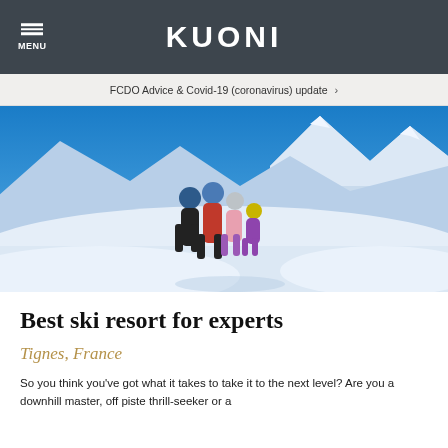MENU | KUONI
FCDO Advice & Covid-19 (coronavirus) update ›
[Figure (photo): Family of four people in ski gear posing on a snowy mountain peak with bright blue sky and snow-capped Alps in background. Three adults and one child wearing colorful ski helmets and jackets.]
Best ski resort for experts
Tignes, France
So you think you've got what it takes to take it to the next level? Are you a downhill master, off piste thrill-seeker or a